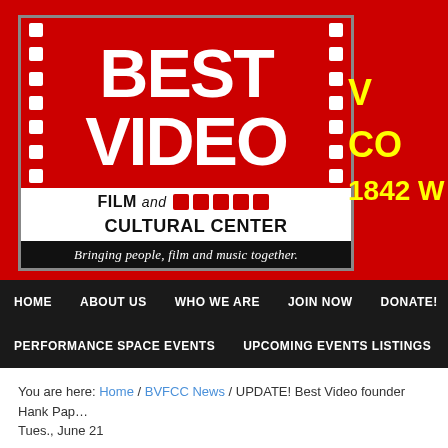[Figure (logo): Best Video Film and Cultural Center logo — red background with white text BEST VIDEO in large bold font, film strip holes on sides, 'FILM and CULTURAL CENTER' below in black/white area with red decorative squares, tagline 'Bringing people, film and music together.' on black bar]
CO
1842 W
HOME   ABOUT US   WHO WE ARE   JOIN NOW   DONATE!   BEST VIDB…   PERFORMANCE SPACE EVENTS   UPCOMING EVENTS LISTINGS   NEW REL…
You are here: Home / BVFCC News / UPDATE! Best Video founder Hank Pap… Tues., June 21
UPDATE! Best Video founder Hank P…